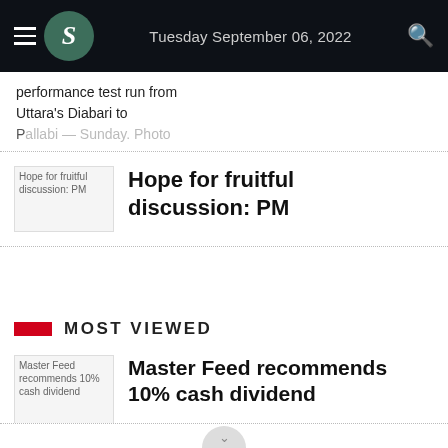Tuesday September 06, 2022
performance test run from Uttara&#039;s Diabari to Pallabi — Sunday. Photo
Hope for fruitful discussion: PM
MOST VIEWED
Master Feed recommends 10% cash dividend